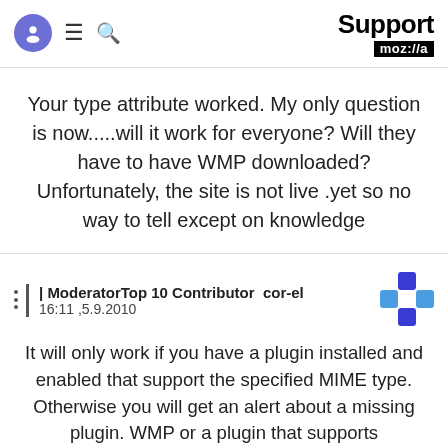Support mozilla
Your type attribute worked. My only question is now.....will it work for everyone? Will they have to have WMP downloaded? Unfortunately, the site is not live .yet so no way to tell except on knowledge
| ModeratorTop 10 Contributor  cor-el
16:11 ,5.9.2010
It will only work if you have a plugin installed and enabled that support the specified MIME type. Otherwise you will get an alert about a missing plugin. WMP or a plugin that supports "application/x-mplayer2"